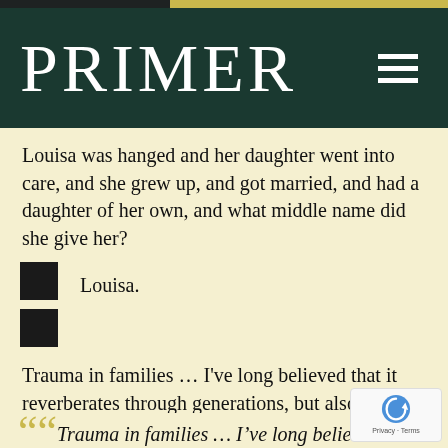PRIMER
Louisa was hanged and her daughter went into care, and she grew up, and got married, and had a daughter of her own, and what middle name did she give her?
Louisa.
Trauma in families … I've long believed that it reverberates through generations, but also through the walls, and down through our shared history.
“Trauma in families … I’ve long believed